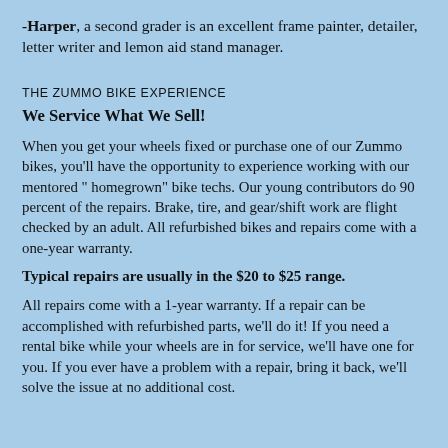-Harper, a second grader is an excellent frame painter, detailer, letter writer and lemon aid stand manager.
THE ZUMMO BIKE EXPERIENCE
We Service What We Sell!
When you get your wheels fixed or purchase one of our Zummo bikes, you'll have the opportunity to experience working with our mentored " homegrown" bike techs. Our young contributors do 90 percent of the repairs. Brake, tire, and gear/shift work are flight checked by an adult. All refurbished bikes and repairs come with a one-year warranty.
Typical repairs are usually in the $20 to $25 range.
All repairs come with a 1-year warranty. If a repair can be accomplished with refurbished parts, we'll do it! If you need a rental bike while your wheels are in for service, we'll have one for you. If you ever have a problem with a repair, bring it back, we'll solve the issue at no additional cost.